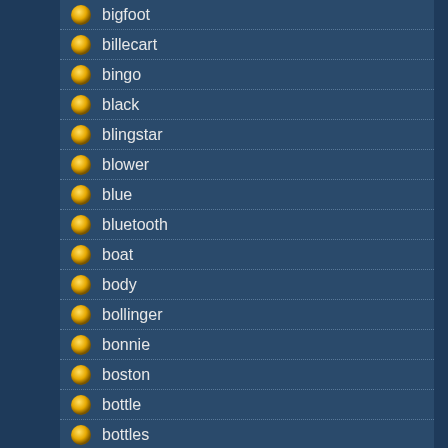bigfoot
billecart
bingo
black
blingstar
blower
blue
bluetooth
boat
body
bollinger
bonnie
boston
bottle
bottles